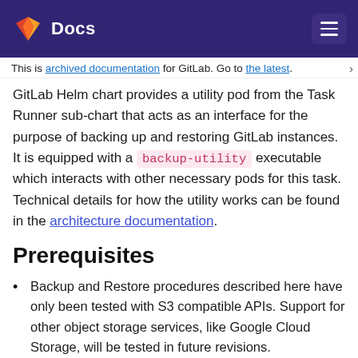Docs
This is archived documentation for GitLab. Go to the latest.
GitLab Helm chart provides a utility pod from the Task Runner sub-chart that acts as an interface for the purpose of backing up and restoring GitLab instances. It is equipped with a backup-utility executable which interacts with other necessary pods for this task. Technical details for how the utility works can be found in the architecture documentation.
Prerequisites
Backup and Restore procedures described here have only been tested with S3 compatible APIs. Support for other object storage services, like Google Cloud Storage, will be tested in future revisions.
During restoration, the backup tarball needs to be